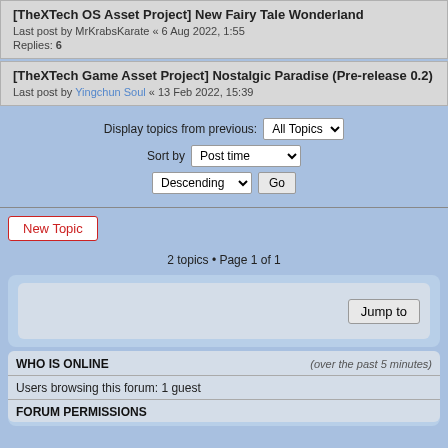[TheXTech OS Asset Project] New Fairy Tale Wonderland
Last post by MrKrabsKarate « 6 Aug 2022, 1:55
Replies: 6
[TheXTech Game Asset Project] Nostalgic Paradise (Pre-release 0.2)
Last post by Yingchun Soul « 13 Feb 2022, 15:39
Display topics from previous: All Topics ▼
Sort by Post time ▼
Descending ▼  Go
New Topic
2 topics • Page 1 of 1
Jump to
WHO IS ONLINE
(over the past 5 minutes)
Users browsing this forum: 1 guest
FORUM PERMISSIONS